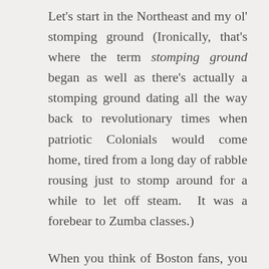Let's start in the Northeast and my ol' stomping ground (Ironically, that's where the term stomping ground began as well as there's actually a stomping ground dating all the way back to revolutionary times when patriotic Colonials would come home, tired from a long day of rabble rousing just to stomp around for a while to let off steam.  It was a forebear to Zumba classes.)
When you think of Boston fans, you may immediately classify them as the racist city in the sports landscape.  This image has formed over decades, beginning with the fact the Red Sox were the last team to assimilate black ballplayers onto their major league squad,